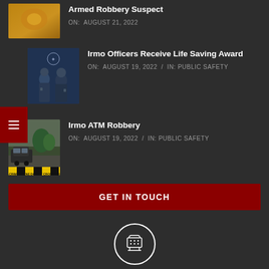[Figure (photo): Thumbnail image for Armed Robbery Suspect article - blurry orange/brown tones]
Armed Robbery Suspect
ON: AUGUST 21, 2022
[Figure (photo): Two police officers in uniform with badge logo visible]
Irmo Officers Receive Life Saving Award
ON: AUGUST 19, 2022 / IN: PUBLIC SAFETY
[Figure (photo): Crime scene photo with police vehicle and yellow crime scene tape]
Irmo ATM Robbery
ON: AUGUST 19, 2022 / IN: PUBLIC SAFETY
GET IN TOUCH
[Figure (illustration): White telephone/TTY icon inside a white circle]
Call Us
We'd love to hear from you. We can be reached at